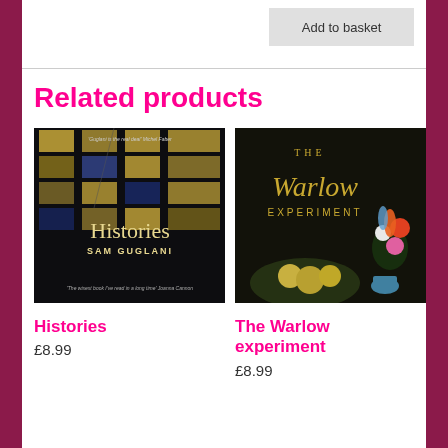[Figure (screenshot): Add to basket button, grey rectangle]
Related products
[Figure (photo): Book cover: Histories by Sam Guglani. Dark background with illuminated office building windows. Text: 'Guglani is the real deal' Michel Faber. 'The wisest book I've read in a long time' Joanna Cannon.]
[Figure (photo): Book cover: The Warlow Experiment. Dark background with cursive gold title text and a still-life painting of flowers and fruit.]
Histories
£8.99
The Warlow experiment
£8.99